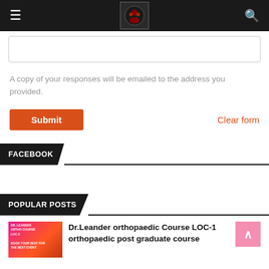Navigation bar with hamburger menu, logo, and search icon
A copy of your responses will be emailed to the address you provided.
Submit
Clear form
FACEBOOK
POPULAR POSTS
Dr.Leander orthopaedic Course LOC-1 orthopaedic post graduate course